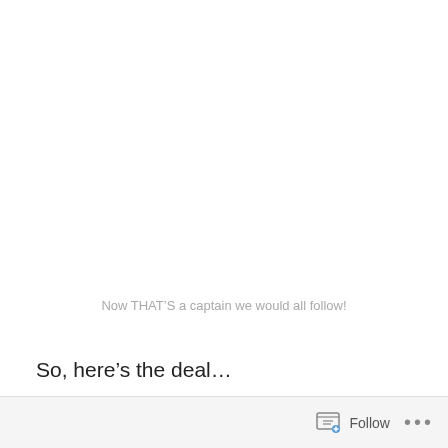Now THAT'S a captain we would all follow!
So, here’s the deal…
I’ve gotten a little chubbier over the winter.  My training has been going very well, but my nutrition has been hit or miss.  I’ll be “good” for a few days, and then I’ll fall off the wagon and eat everything in sight for a few days.  Since we’ll be racing the 24-Hour LBL Challenge in just 5 weeks (more on that in an upcoming post), it’s time to get my sh*t together.
Follow •••